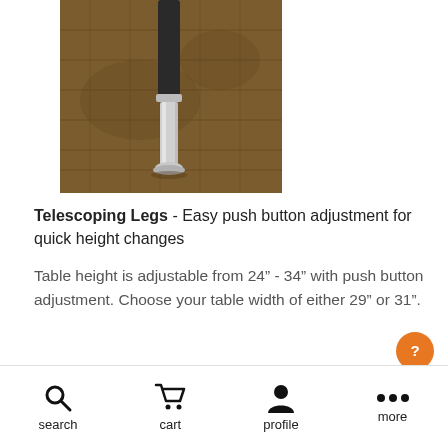[Figure (photo): Close-up photo of a telescoping table leg on brown carpet, showing black tube and silver/chrome lower section with a circular foot pad touching the carpet.]
Telescoping Legs - Easy push button adjustment for quick height changes
Table height is adjustable from 24" - 34" with push button adjustment. Choose your table width of either 29" or 31".
[Figure (infographic): Orange circular help/question mark button]
search  cart  profile  more